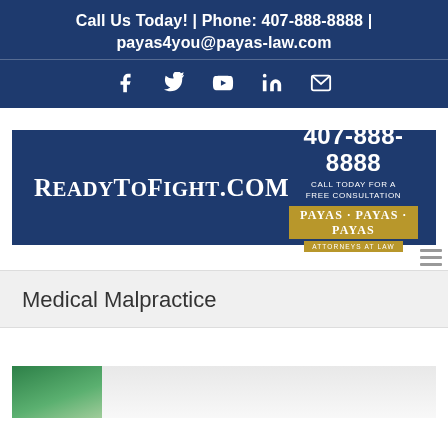Call Us Today! | Phone: 407-888-8888 | payas4you@payas-law.com
[Figure (other): Social media icons row: Facebook, Twitter, YouTube, LinkedIn, Email]
[Figure (other): Ad banner: ReadyToFight.com | 407-888-8888 Call Today For A Free Consultation | Payas Payas Payas Attorneys At Law]
Medical Malpractice
[Figure (photo): Partial photo at bottom of page showing green and gray tones, likely medical scene]